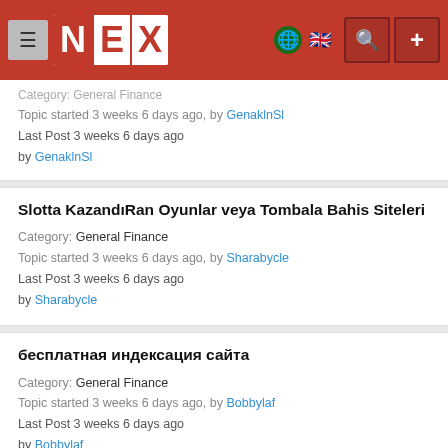NEX header navigation bar
Category: General Finance
Topic started 3 weeks 6 days ago, by GenaklnSl
Last Post 3 weeks 6 days ago
by GenaklnSl
Slotta KazandıRan Oyunlar veya Tombala Bahis Siteleri
Category: General Finance
Topic started 3 weeks 6 days ago, by Sharabycle
Last Post 3 weeks 6 days ago
by Sharabycle
бесплатная индексация сайта
Category: General Finance
Topic started 3 weeks 6 days ago, by Bobbylaf
Last Post 3 weeks 6 days ago
by Bobbylaf
Big Ass Photos – Free Huge Butt Porn, Big Booty Pics